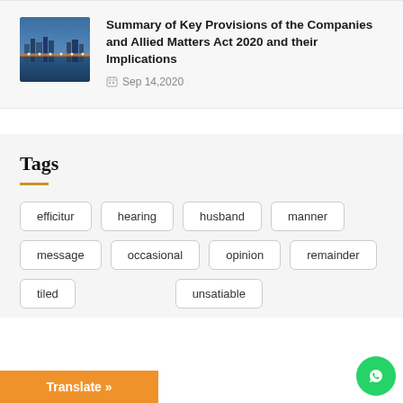[Figure (photo): Aerial photo of a city with roads and waterfront, blue and orange tones]
Summary of Key Provisions of the Companies and Allied Matters Act 2020 and their Implications
Sep 14,2020
Tags
efficitur
hearing
husband
manner
message
occasional
opinion
remainder
tiled
unfeeling
unsatiable